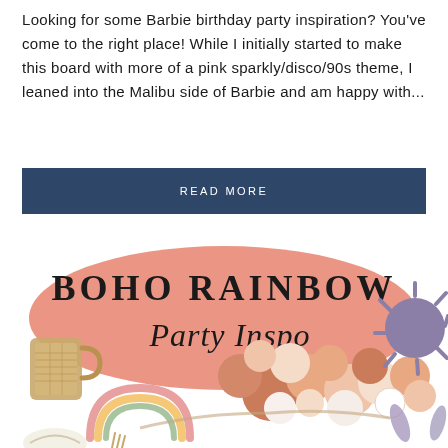Looking for some Barbie birthday party inspiration? You've come to the right place! While I initially started to make this board with more of a pink sparkly/disco/90s theme, I leaned into the Malibu side of Barbie and am happy with...
READ MORE
[Figure (illustration): Boho Rainbow Party Inspo graphic with pink oval background, large serif text 'BOHO RAINBOW' and cursive 'Party Inspo', surrounded by boho party items including balloons in terracotta/peach/white/cream tones, a rattan mug, a rainbow decoration, and a purple spiky balloon]